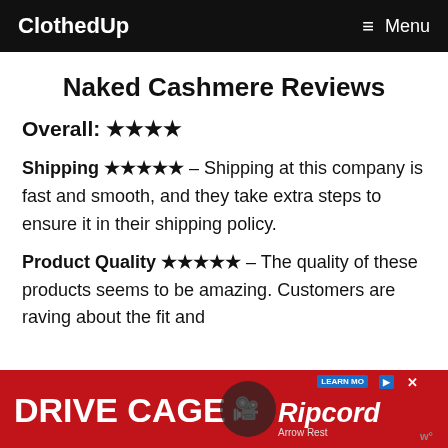ClothedUp | Menu
Naked Cashmere Reviews
Overall: ★★★★
Shipping ★★★★★ – Shipping at this company is fast and smooth, and they take extra steps to ensure it in their shipping policy.
Product Quality ★★★★★ – The quality of these products seems to be amazing. Customers are raving about the fit and
[Figure (other): Advertisement banner: Drive Cage by Ripcord Arrow Rest on red background]